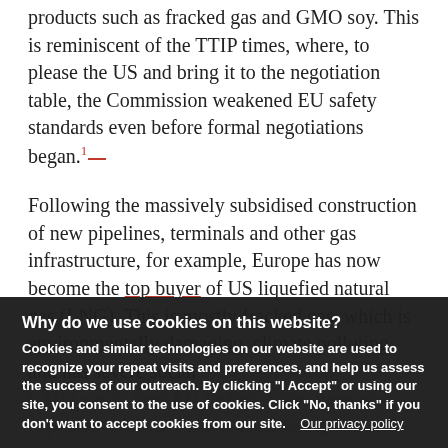products such as fracked gas and GMO soy. This is reminiscent of the TTIP times, where, to please the US and bring it to the negotiation table, the Commission weakened EU safety standards even before formal negotiations began.1
Following the massively subsidised construction of new pipelines, terminals and other gas infrastructure, for example, Europe has now become the top buyer of US liquefied natural gas (LNG). This is mostly fracked gas, which is environmentally damaging, climate polluting and has severe social impacts. Imports for US GMO soy to feed EU factory farms have also exploded, and the Commission has...
Why do we use cookies on this website?
Cookies and similar technologies on our website are used to recognize your repeat visits and preferences, and help us assess the success of our outreach. By clicking "I Accept" or using our site, you consent to the use of cookies. Click "No, thanks" if you don't want to accept cookies from our site.   Our privacy policy